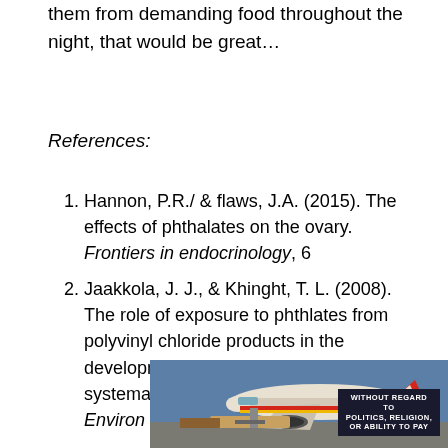them from demanding food throughout the night, that would be great…
References:
Hannon, P.R./ & flaws, J.A. (2015). The effects of phthalates on the ovary. Frontiers in endocrinology, 6
Jaakkola, J. J., & Khinght, T. L. (2008). The role of exposure to phthlates from polyvinyl chloride products in the development of asthma and allergies: a systematic review and metaanalysis. Environ Health Perspect, 116(7), 845-53
[Figure (photo): Advertisement showing a cargo airplane being loaded, with text overlay 'WITHOUT REGARD TO POLITICS, RELIGION, OR ABILITY TO PAY']